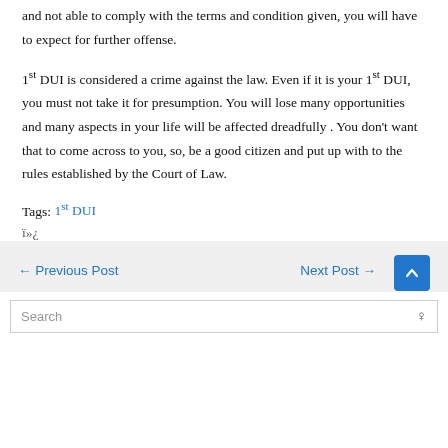and not able to comply with the terms and condition given, you will have to expect for further offense.
1st DUI is considered a crime against the law. Even if it is your 1st DUI, you must not take it for presumption. You will lose many opportunities and many aspects in your life will be affected dreadfully . You don't want that to come across to you, so, be a good citizen and put up with to the rules established by the Court of Law.
Tags: 1st DUI
ï»¿
← Previous Post    Next Post →